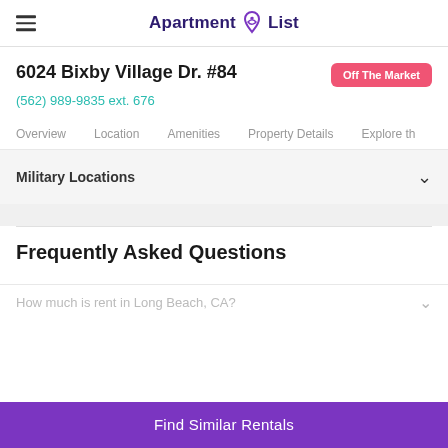Apartment List
6024 Bixby Village Dr. #84
Off The Market
(562) 989-9835 ext. 676
Overview
Location
Amenities
Property Details
Explore th
Military Locations
Frequently Asked Questions
How much is rent in Long Beach, CA?
Find Similar Rentals